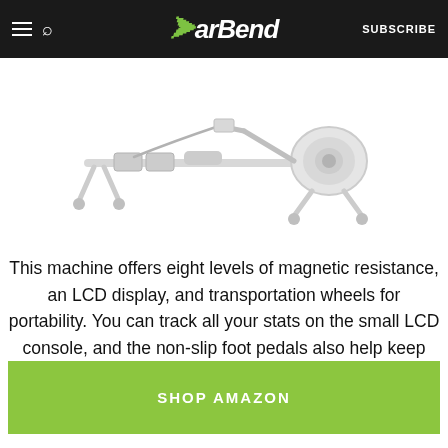BarBend — SUBSCRIBE
[Figure (photo): A white rowing machine / magnetic resistance rower on a white background, viewed from the side.]
This machine offers eight levels of magnetic resistance, an LCD display, and transportation wheels for portability. You can track all your stats on the small LCD console, and the non-slip foot pedals also help keep your feet securely in place.
SHOP AMAZON